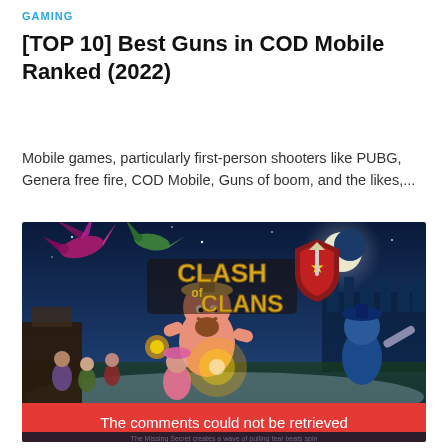GAMING
[TOP 10] Best Guns in COD Mobile Ranked (2022)
Mobile games, particularly first-person shooters like PUBG, Genera free fire, COD Mobile, Guns of boom, and the likes,...
[Figure (illustration): Clash of Clans game promotional artwork showing various game characters in battle, with the Clash of Clans logo prominently displayed. A red error bar at the bottom reads 'The comments could not be retrieved'.]